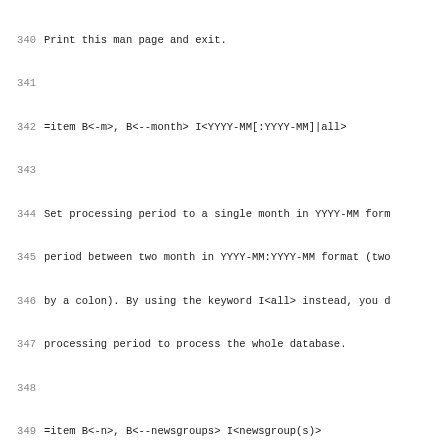340 Print this man page and exit.
341
342 =item B<-m>, B<--month> I<YYYY-MM[:YYYY-MM]|all>
343
344 Set processing period to a single month in YYYY-MM form
345 period between two month in YYYY-MM:YYYY-MM format (two
346 by a colon). By using the keyword I<all> instead, you d
347 processing period to process the whole database.
348
349 =item B<-n>, B<--newsgroups> I<newsgroup(s)>
350
351 Limit processing to a certain set of newsgroups. I<news
352 be a single newsgroup name (de.alt.test), a newsgroup h
353 (de.alt.*) or a list of either of these, separated by c
354 example
355
356     de.test:de.alt.test:de.newusers.*
357
358 =item B<-s>, B<--sums|--nosums> (sum per hierarchy leve
359
360 Include "virtual" groups for every hierarchy level in o
361 example:
362
363     de.alt.ALL 10
364     de.alt.test 5
365     de.alt.admin 7
366
367 See the B<gatherstats> man page for details.
368
369 =item B<--checkgroups> I<filename>
370
371 Restrict output to those newsgroups present in a file i